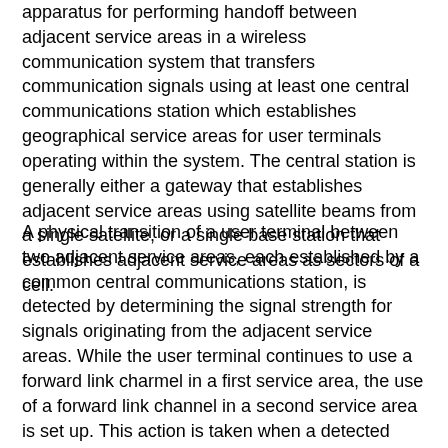apparatus for performing handoff between adjacent service areas in a wireless communication system that transfers communication signals using at least one central communications station which establishes geographical service areas for user terminals operating within the system. The central station is generally either a gateway that establishes adjacent service areas using satellite beams from a single satellite, or a single base station that establishes adjacent service areas as sectors of a cell.
A physical transition of a user terminal between two adjacent service areas, each established by a common central communications station, is detected by determining the signal strength for signals originating from the adjacent service areas. While the user terminal continues to use a forward link charmel in a first service area, the use of a forward link channel in a second service area is set up. This action is taken when a detected signal strength for the second adjacent service area at least equab that of the first service area. Once the forward link traffic channel is established in the second service area, its satisfactory operation is confirmed according to a preselected minimum quality